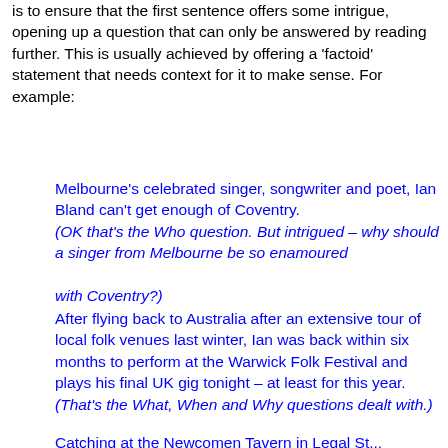is to ensure that the first sentence offers some intrigue, opening up a question that can only be answered by reading further. This is usually achieved by offering a 'factoid' statement that needs context for it to make sense. For example:
Melbourne's celebrated singer, songwriter and poet, Ian Bland can't get enough of Coventry. (OK that's the Who question. But intrigued – why should a singer from Melbourne be so enamoured with Coventry?)
After flying back to Australia after an extensive tour of local folk venues last winter, Ian was back within six months to perform at the Warwick Folk Festival and plays his final UK gig tonight – at least for this year. (That's the What, When and Why questions dealt with.)
Catching at the Newcomen Tavern in Legal Street...